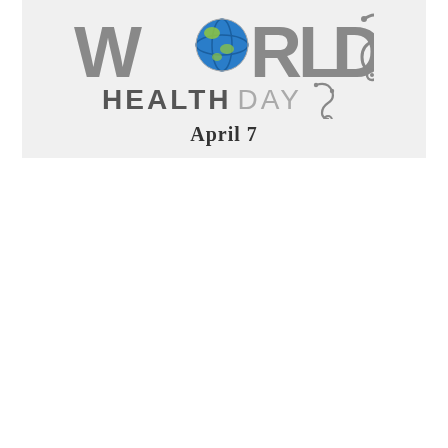[Figure (logo): World Health Day logo with globe replacing the letter O in WORLD, stethoscope graphic, text reading HEALTH DAY and April 7]